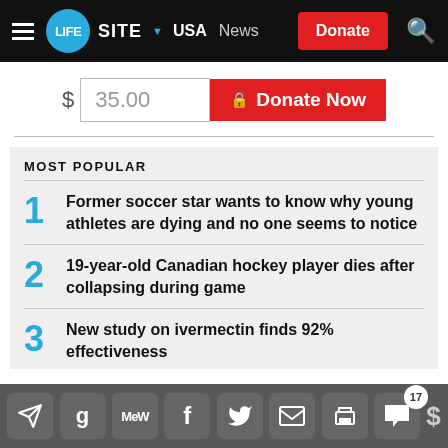LIFESITE USA News Donate
$ 35.00  Donate Now
MOST POPULAR
1 Former soccer star wants to know why young athletes are dying and no one seems to notice
2 19-year-old Canadian hockey player dies after collapsing during game
3 New study on ivermectin finds 92% effectiveness
Social share toolbar with 17 comments